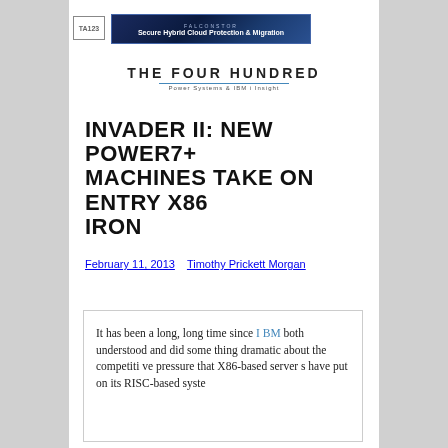[Figure (logo): Small logo box with text TA123]
[Figure (infographic): FalconStor advertisement banner: 'Secure Hybrid Cloud Protection & Migration' on dark blue background]
THE FOUR HUNDRED
Power Systems & IBM i Insight
INVADER II: NEW POWER7+ MACHINES TAKE ON ENTRY X86 IRON
February 11, 2013    Timothy Prickett Morgan
It has been a long, long time since IBM both understood and did something dramatic about the competitive pressure that X86-based servers have put on its RISC-based syste